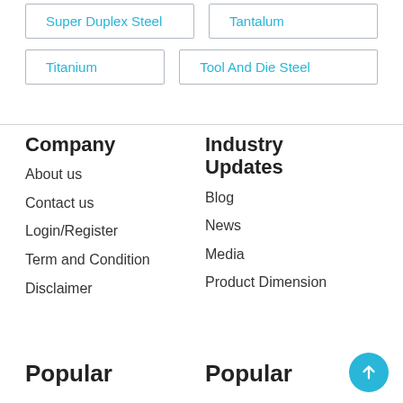Super Duplex Steel
Tantalum
Titanium
Tool And Die Steel
Company
About us
Contact us
Login/Register
Term and Condition
Disclaimer
Industry Updates
Blog
News
Media
Product Dimension
Popular
Popular